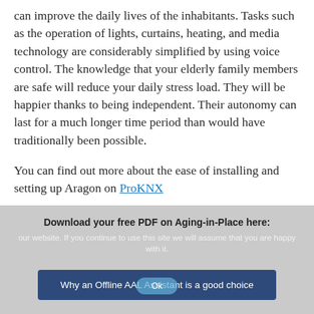can improve the daily lives of the inhabitants. Tasks such as the operation of lights, curtains, heating, and media technology are considerably simplified by using voice control. The knowledge that your elderly family members are safe will reduce your daily stress load. They will be happier thanks to being independent. Their autonomy can last for a much longer time period than would have traditionally been possible.
You can find out more about the ease of installing and setting up Aragon on ProKNX
[Figure (screenshot): Cookie/download overlay banner with gray background, text 'Download your free PDF on Aging-in-Place here:', smaller gray text about cookies, a dark blue button labeled 'Why an Offline AAL Assistant is a good choice', and an Ok button.]